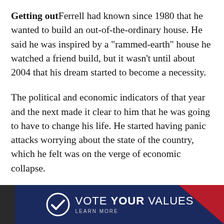Getting out Ferrell had known since 1980 that he wanted to build an out-of-the-ordinary house. He said he was inspired by a "rammed-earth" house he watched a friend build, but it wasn't until about 2004 that his dream started to become a necessity.
The political and economic indicators of that year and the next made it clear to him that he was going to have to change his life. He started having panic attacks worrying about the state of the country, which he felt was on the verge of economic collapse.
"I had to get out of the overinflated housing market," he said. "I had to sell out to get out of a dysfunctional economic system."
[Figure (other): Advertisement banner: dark navy background with red corner accent. Circle checkmark logo on left. Text reads 'VOTE YOUR VALUES' with 'LEARN MORE' below.]